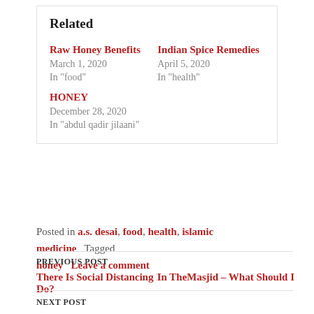Related
Raw Honey Benefits
March 1, 2020
In "food"
Indian Spice Remedies
April 5, 2020
In "health"
HONEY
December 28, 2020
In "abdul qadir jilaani"
Posted in a.s. desai, food, health, islamic medicine   Tagged honey   Leave a comment
PREVIOUS POST
There Is Social Distancing In TheMasjid – What Should I Do?
NEXT POST